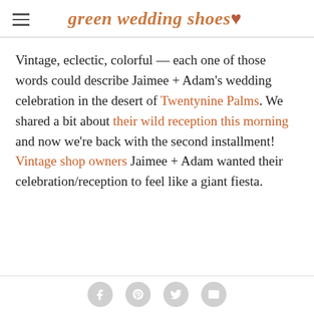green wedding shoes ♥
Vintage, eclectic, colorful — each one of those words could describe Jaimee + Adam's wedding celebration in the desert of Twentynine Palms. We shared a bit about their wild reception this morning and now we're back with the second installment! Vintage shop owners Jaimee + Adam wanted their celebration/reception to feel like a giant fiesta.
Social share icons: Facebook, Pinterest, Twitter, Email